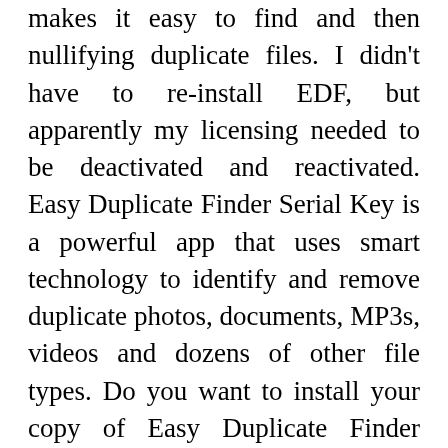makes it easy to find and then nullifying duplicate files. I didn't have to re-install EDF, but apparently my licensing needed to be deactivated and reactivated. Easy Duplicate Finder Serial Key is a powerful app that uses smart technology to identify and remove duplicate photos, documents, MP3s, videos and dozens of other file types. Do you want to install your copy of Easy Duplicate Finder (www.easyduplicatefinder.com) on another computer without it jumping back to trial mode? And if you delete a file by mistake, you can always use the Undo button to restore it. Easy replicate Finder employs bright spot and then deletes duplicate pics, files, MP3s, video clips, and a lot of other document types. After paying for a License Key for Easy Duplicates